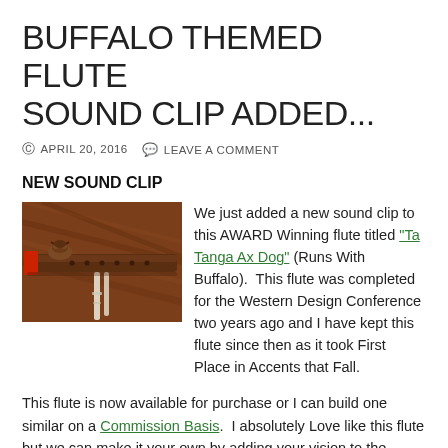BUFFALO THEMED FLUTE SOUND CLIP ADDED...
APRIL 20, 2016   LEAVE A COMMENT
NEW SOUND CLIP
[Figure (photo): Photo of a wooden Native American flute with a carved buffalo totem on top, resting on a reddish-brown wooden surface, with white ribbon or leather hanging from it.]
We just added a new sound clip to this AWARD Winning flute titled "Ta Tanga Ax Dog" (Runs With Buffalo).  This flute was completed for the Western Design Conference two years ago and I have kept this flute since then as it took First Place in Accents that Fall.
This flute is now available for purchase or I can build one similar on a Commission Basis.  I absolutely Love like this flute but we can make it your own by adding your vision to the project.  Let me hear from you if you like how it sounds ... or